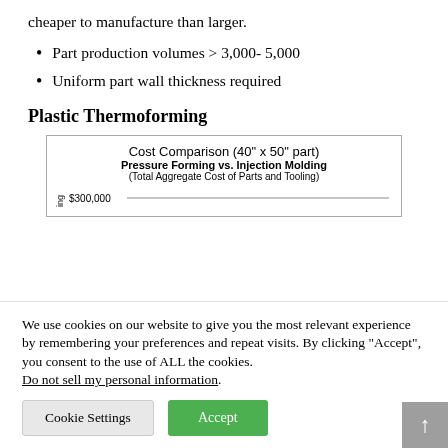cheaper to manufacture than larger.
Part production volumes > 3,000-5,000
Uniform part wall thickness required
Plastic Thermoforming
[Figure (other): Cost Comparison (40" x 50" part) Pressure Forming vs. Injection Molding (Total Aggregate Cost of Parts and Tooling) chart showing $300,000 bar (partially visible)]
We use cookies on our website to give you the most relevant experience by remembering your preferences and repeat visits. By clicking “Accept”, you consent to the use of ALL the cookies. Do not sell my personal information.